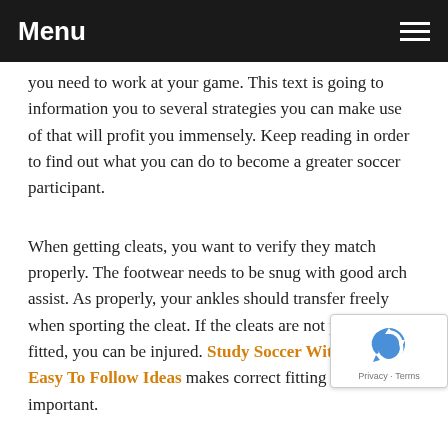Menu
you need to work at your game. This text is going to information you to several strategies you can make use of that will profit you immensely. Keep reading in order to find out what you can do to become a greater soccer participant.
When getting cleats, you want to verify they match properly. The footwear needs to be snug with good arch assist. As properly, your ankles should transfer freely when sporting the cleat. If the cleats are not properly fitted, you can be injured. Study Soccer With These Easy To Follow Ideas makes correct fitting very important.
Avoid shifting the soccer ball near the goal unless you've got bought an excellent shot. If you do not have